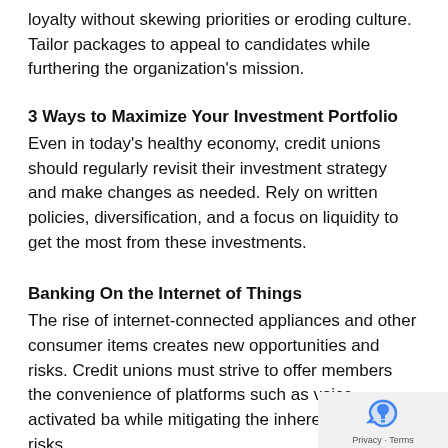loyalty without skewing priorities or eroding culture. Tailor packages to appeal to candidates while furthering the organization's mission.
3 Ways to Maximize Your Investment Portfolio
Even in today's healthy economy, credit unions should regularly revisit their investment strategy and make changes as needed. Rely on written policies, diversification, and a focus on liquidity to get the most from these investments.
Banking On the Internet of Things
The rise of internet-connected appliances and other consumer items creates new opportunities and risks. Credit unions must strive to offer members the convenience of platforms such as voice activated ba… while mitigating the inherent security risks.
Privacy · Terms